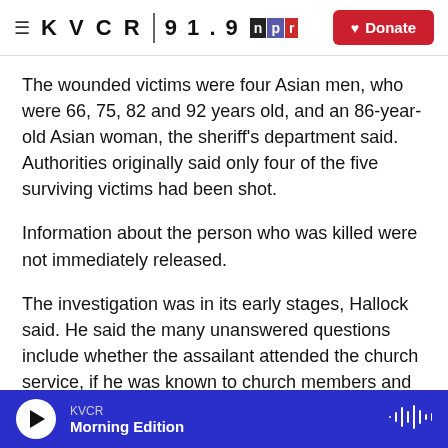KVCR 91.9 | npr | Donate
The wounded victims were four Asian men, who were 66, 75, 82 and 92 years old, and an 86-year-old Asian woman, the sheriff's department said. Authorities originally said only four of the five surviving victims had been shot.
Information about the person who was killed were not immediately released.
The investigation was in its early stages, Hallock said. He said the many unanswered questions include whether the assailant attended the church service, if he was known to church members and
KVCR | Morning Edition